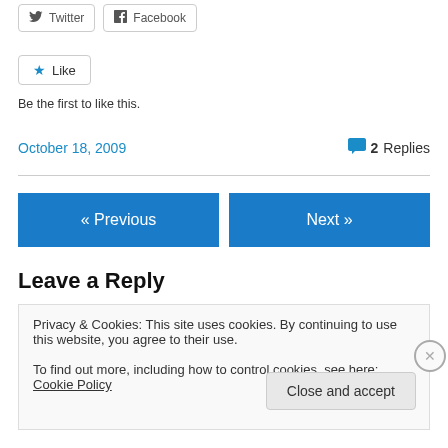[Figure (other): Twitter and Facebook share buttons]
[Figure (other): Like button with star icon]
Be the first to like this.
October 18, 2009   💬 2 Replies
[Figure (other): Previous and Next navigation buttons]
Leave a Reply
Privacy & Cookies: This site uses cookies. By continuing to use this website, you agree to their use.
To find out more, including how to control cookies, see here: Cookie Policy
[Figure (other): Close and accept button]